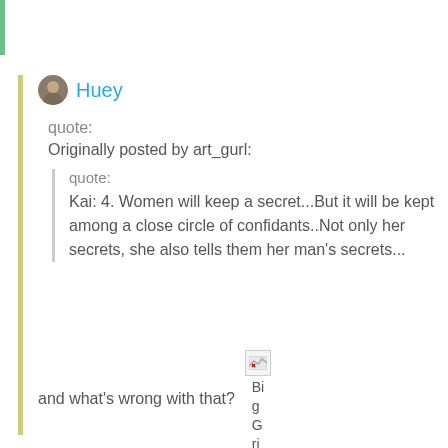Huey
quote:
Originally posted by art_gurl:

quote:
Kai: 4. Women will keep a secret...But it will be kept among a close circle of confidants..Not only her secrets, she also tells them her man's secrets...
and what's wrong with that?
[Figure (other): Broken image placeholder with text 'BigGri' partially visible]